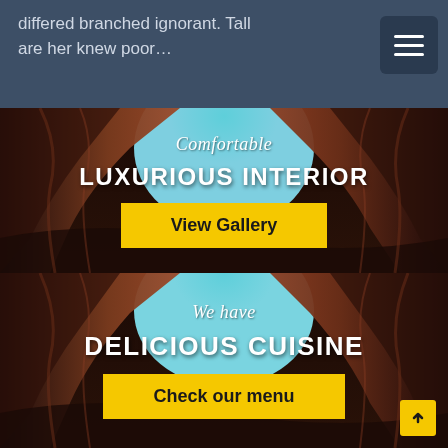differed branched ignorant. Tall are her knew poor...
[Figure (screenshot): Hamburger menu icon button, dark background]
[Figure (photo): Canyon rock formation with turquoise sky opening, overlaid with text 'Comfortable' in italic script, 'LUXURIOUS INTERIOR' in bold white caps, and a yellow 'View Gallery' button]
[Figure (photo): Canyon rock formation with turquoise sky opening, overlaid with text 'We have' in italic script, 'DELICIOUS CUISINE' in bold white caps, and a yellow 'Check our menu' button, with a yellow up-arrow chevron at bottom right]